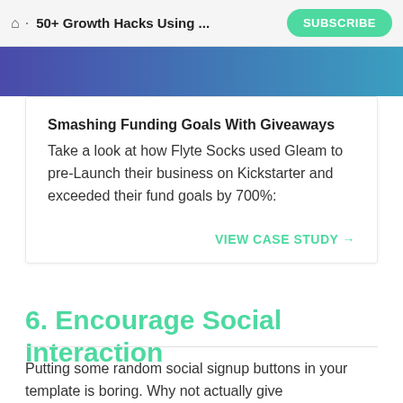🏠 · 50+ Growth Hacks Using ... SUBSCRIBE
Smashing Funding Goals With Giveaways
Take a look at how Flyte Socks used Gleam to pre-Launch their business on Kickstarter and exceeded their fund goals by 700%:
VIEW CASE STUDY →
6. Encourage Social Interaction
Putting some random social signup buttons in your template is boring. Why not actually give